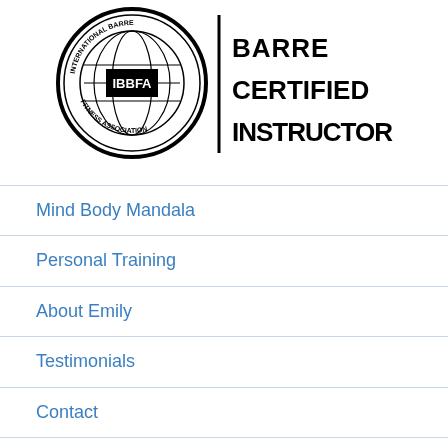[Figure (logo): IBBFA International Barre Fitness Association circular seal logo with globe and text 'IBBFA', alongside bold text reading 'BARRE CERTIFIED INSTRUCTOR']
Mind Body Mandala
Personal Training
About Emily
Testimonials
Contact
Blog